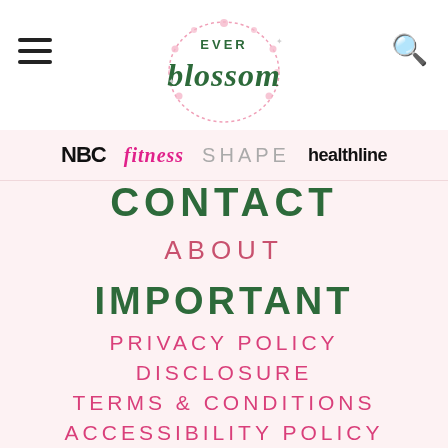[Figure (logo): Ever Blossom logo with floral wreath and script text]
[Figure (logo): Media logos bar: NBC, fitness, SHAPE, healthline]
CONTACT
ABOUT
IMPORTANT
PRIVACY POLICY
DISCLOSURE
TERMS & CONDITIONS
ACCESSIBILITY POLICY